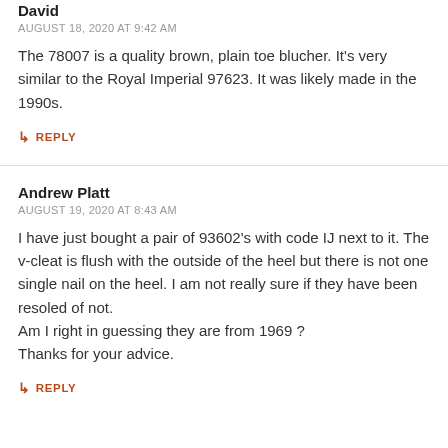David
AUGUST 18, 2020 AT 9:42 AM
The 78007 is a quality brown, plain toe blucher. It's very similar to the Royal Imperial 97623. It was likely made in the 1990s.
↳ REPLY
Andrew Platt
AUGUST 19, 2020 AT 8:43 AM
I have just bought a pair of 93602's with code IJ next to it. The v-cleat is flush with the outside of the heel but there is not one single nail on the heel. I am not really sure if they have been resoled of not.
Am I right in guessing they are from 1969 ?
Thanks for your advice.
↳ REPLY